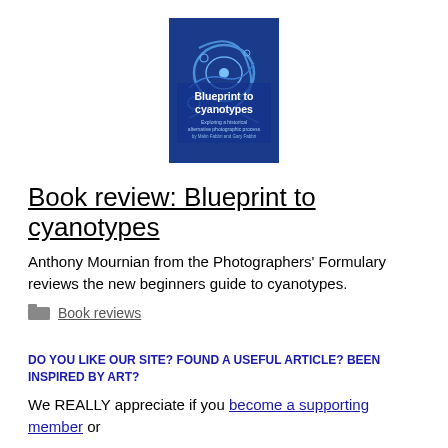[Figure (illustration): Book cover of 'Blueprint to cyanotypes: Exploring a historical alternative photographic process' — dark blue cover with cyanotype imagery and white/light blue text]
Book review: Blueprint to cyanotypes
Anthony Mournian from the Photographers' Formulary reviews the new beginners guide to cyanotypes.
Book reviews
DO YOU LIKE OUR SITE? FOUND A USEFUL ARTICLE? BEEN INSPIRED BY ART?
We REALLY appreciate if you become a supporting member or